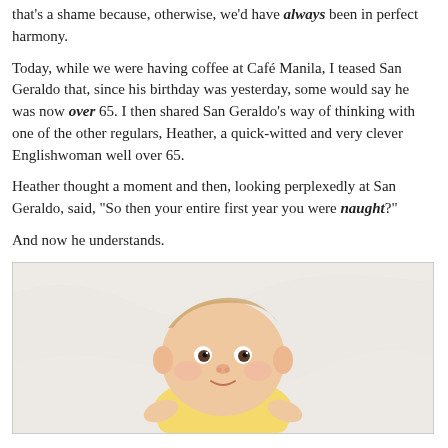that's a shame because, otherwise, we'd have always been in perfect harmony.
Today, while we were having coffee at Café Manila, I teased San Geraldo that, since his birthday was yesterday, some would say he was now over 65. I then shared San Geraldo's way of thinking with one of the other regulars, Heather, a quick-witted and very clever Englishwoman well over 65.
Heather thought a moment and then, looking perplexedly at San Geraldo, said, "So then your entire first year you were naught?"
And now he understands.
[Figure (photo): A baby lying on a white background, wearing a yellow outfit, looking at the camera with a serious expression.]